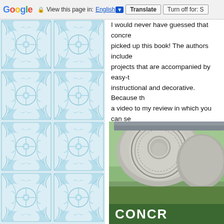Google  View this page in: English [▼]  Translate  Turn off for: S
[Figure (illustration): Decorative blue and white Portuguese-style azulejo tile pattern on left side of page]
I would never have guessed that concre... picked up this book! The authors include projects that are accompanied by easy-t... instructional and decorative. Because th... a video to my review in which you can se... beginners and more advanced concrete ...
Highly recommended!"
[Figure (photo): Photo of decorative concrete cylinders/rollers lying on grass with ornate face design visible, with green banner at bottom showing text 'CONCR']